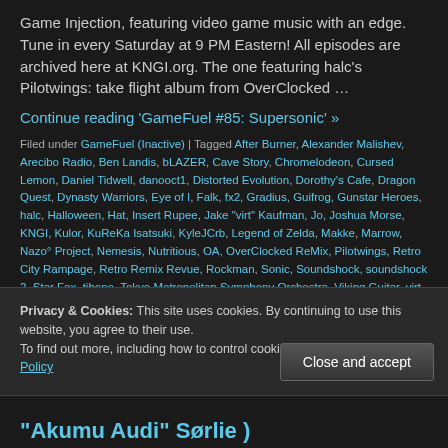Game Injection, featuring video game music with an edge. Tune in every Saturday at 9 PM Eastern! All episodes are archived here at KNGI.org. The one featuring halc’s Pilotwings: take flight album from OverClocked …
Continue reading ‘GameFuel #85: Supersonic’ »
Filed under GameFuel (Inactive) | Tagged After Burner, Alexander Malishev, Arecibo Radio, Ben Landis, bLAZER, Cave Story, Chromelodeon, Cursed Lemon, Daniel Tidwell, danooct1, Distorted Evolution, Dorothy’s Cafe, Dragon Quest, Dynasty Warriors, Eye of I, Falk, fx2, Gradius, Guifrog, Gunstar Heroes, halc, Halloween, Hat, Insert Rupee, Jake “virt” Kaufman, Jo, Joshua Morse, KNGI, Kulor, KuReKa Isatsuki, KyleJCrb, Legend of Zelda, Makke, Marrow, Nazo° Project, Nemesis, Nutritious, OA, OverClocked ReMix, Pilotwings, Retro City Rampage, Retro Remix Revue, Rockman, Sonic, Soundshock, soundshock 2, Star Fox, tibone, Tokyo Metropolitan Symphony Orchestra, Viking Guitar, virt, Zelda | Comment
Privacy & Cookies: This site uses cookies. By continuing to use this website, you agree to their use.
To find out more, including how to control cookies, see here: Cookie Policy
“Akumu Audi” Sørlie )